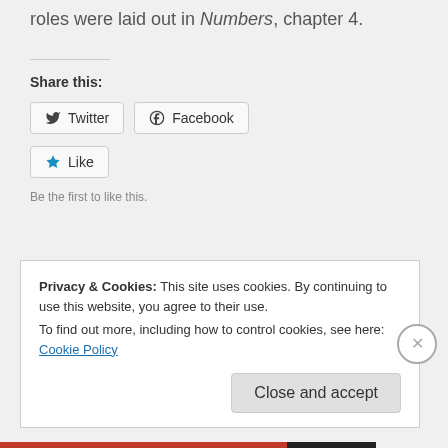roles were laid out in Numbers, chapter 4.
Share this:
Twitter   Facebook
Like
Be the first to like this.
Privacy & Cookies: This site uses cookies. By continuing to use this website, you agree to their use.
To find out more, including how to control cookies, see here: Cookie Policy
Close and accept